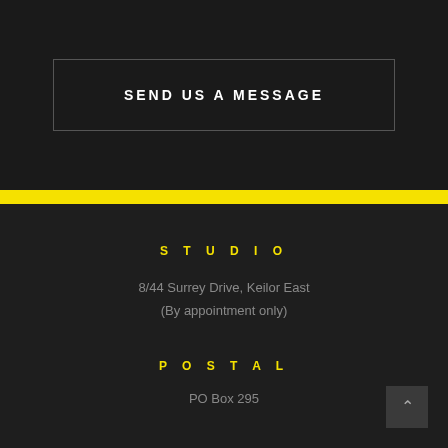SEND US A MESSAGE
STUDIO
8/44 Surrey Drive, Keilor East
(By appointment only)
POSTAL
PO Box 295